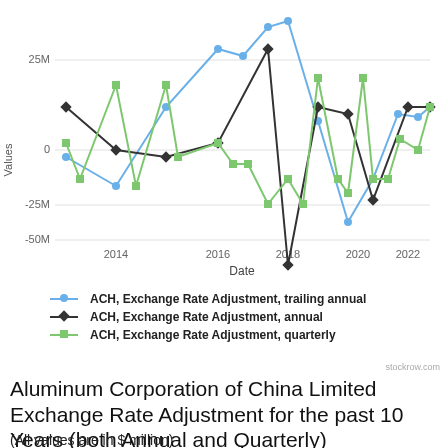[Figure (line-chart): ]
ACH, Exchange Rate Adjustment, trailing annual
ACH, Exchange Rate Adjustment, annual
ACH, Exchange Rate Adjustment, quarterly
Aluminum Corporation of China Limited Exchange Rate Adjustment for the past 10 Years (both Annual and Quarterly)
(All values are in $ million)